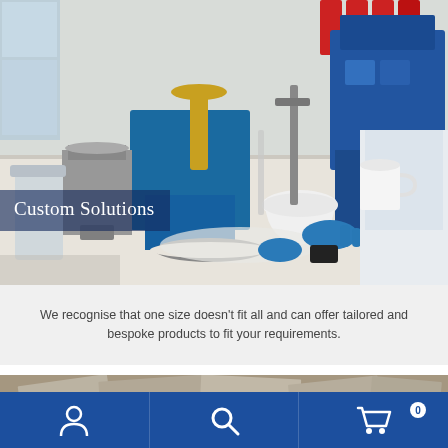[Figure (photo): Laboratory setting with blue scientific equipment, scales, a person in white lab coat and blue gloves working with materials and instruments on a workbench]
Custom Solutions
We recognise that one size doesn't fit all and can offer tailored and bespoke products to fit your requirements.
[Figure (photo): Partial view of flat material samples or tiles on a surface, blurred/out of focus]
Navigation bar with person/account icon, search icon, and shopping cart icon with badge showing 0